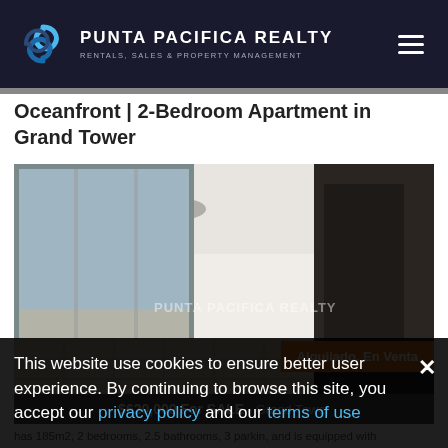PUNTA PACIFICA REALTY — RENTALS, SALES & PROPERTY MANAGEMENT
Oceanfront | 2-Bedroom Apartment in Grand Tower
[Figure (photo): Interior of a modern oceanfront apartment with floor-to-ceiling windows, light marble flooring, white walls, and dark wood doors. Watermark reads PUNTA PACIFICA REALTY. Badge reads: Alquilado, En Venta]
$620,000 For SALE - Grand Tower
This website use cookies to ensure better user experience. By continuing to browse this site, you accept our privacy policy and our terms of use
has 185m2, 2 bedrooms, 2.5 bathrooms, 3 parkin, and is equipped with